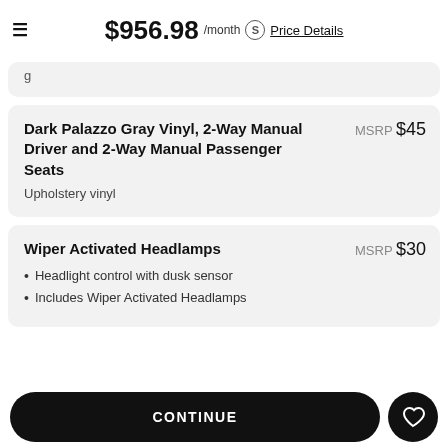$956.98 /month  Price Details
g...
Dark Palazzo Gray Vinyl, 2-Way Manual Driver and 2-Way Manual Passenger Seats  MSRP $45
Upholstery vinyl
Wiper Activated Headlamps  MSRP $30
Headlight control with dusk sensor
Includes Wiper Activated Headlamps
CONTINUE